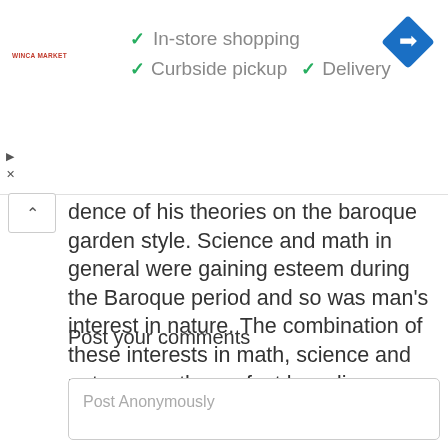[Figure (screenshot): Advertisement banner for Winca Market showing checkmarks for In-store shopping, Curbside pickup, and Delivery with a blue navigation arrow icon]
dence of his theories on the baroque garden style. Science and math in general were gaining esteem during the Baroque period and so was man's interest in nature. The combination of these interests in math, science and nature was the perfect breeding ground for the baroque garden.
Post your comments
Post Anonymously